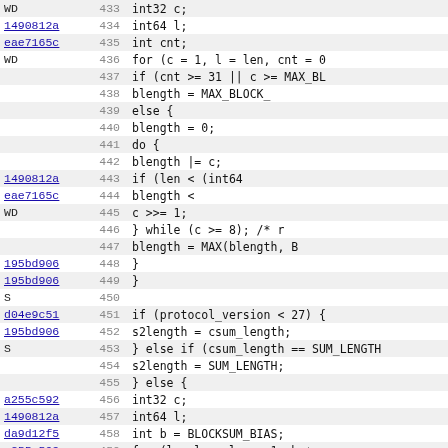[Figure (screenshot): Source code diff view with commit hash annotations, line numbers, and C code. Lines 433-464 shown. Left column shows commit hashes (linked), center shows line numbers, right shows code content.]